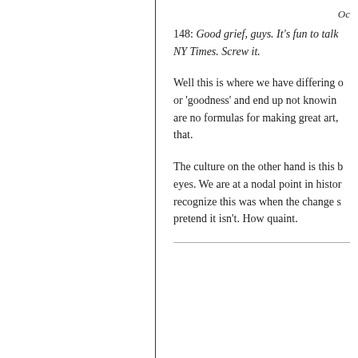Oc
148: Good grief, guys. It's fun to talk NY Times. Screw it.
Well this is where we have differing o or 'goodness' and end up not knowin are no formulas for making great art, that.
The culture on the other hand is this b eyes. We are at a nodal point in histor recognize this was when the change s pretend it isn't. How quaint.